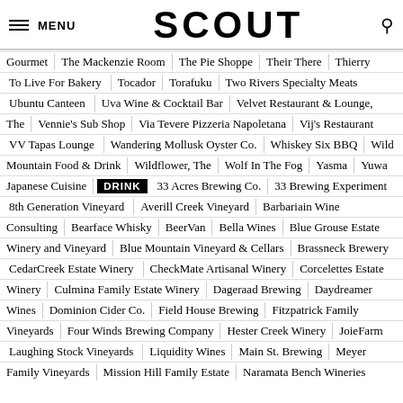MENU | SCOUT | [search]
Gourmet | The Mackenzie Room | The Pie Shoppe | Their There | Thierry
To Live For Bakery | Tocador | Torafuku | Two Rivers Specialty Meats
Ubuntu Canteen | Uva Wine & Cocktail Bar | Velvet Restaurant & Lounge, The
The | Vennie's Sub Shop | Via Tevere Pizzeria Napoletana | Vij's Restaurant
VV Tapas Lounge | Wandering Mollusk Oyster Co. | Whiskey Six BBQ | Wild Mountain Food & Drink
Wildflower, The | Wolf In The Fog | Yasma | Yuwa Japanese Cuisine
DRINK | 33 Acres Brewing Co. | 33 Brewing Experiment
8th Generation Vineyard | Averill Creek Vineyard | Barbariain Wine Consulting
Bearface Whisky | BeerVan | Bella Wines | Blue Grouse Estate Winery and Vineyard
Blue Mountain Vineyard & Cellars | Brassneck Brewery
CedarCreek Estate Winery | CheckMate Artisanal Winery | Corcelettes Estate Winery
Culmina Family Estate Winery | Dageraad Brewing | Daydreamer Wines
Dominion Cider Co. | Field House Brewing | Fitzpatrick Family Vineyards
Four Winds Brewing Company | Hester Creek Winery | JoieFarm
Laughing Stock Vineyards | Liquidity Wines | Main St. Brewing | Meyer Family Vineyards
Mission Hill Family Estate | Naramata Bench Wineries